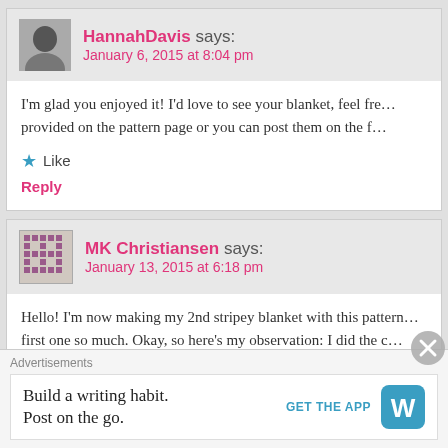HannahDavis says: January 6, 2015 at 8:04 pm
I'm glad you enjoyed it! I'd love to see your blanket, feel fre… provided on the pattern page or you can post them on the f…
★ Like
Reply
MK Christiansen says: January 13, 2015 at 6:18 pm
Hello! I'm now making my 2nd stripey blanket with this pattern… first one so much. Okay, so here's my observation: I did the c… total stitches. When I got to the end of row #12, I looked care… row just above the Cath Wheel, where you have to count yo…
Advertisements
Build a writing habit.
Post on the go.
GET THE APP